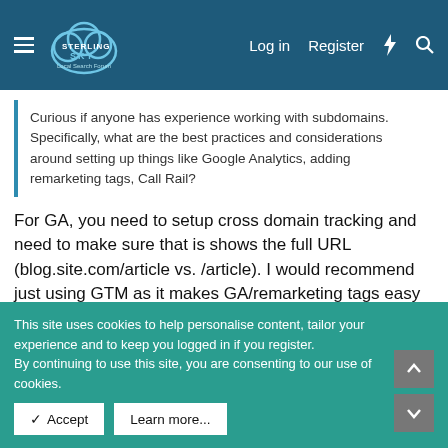Sterling Sky Local Search Forum — Log in  Register
Curious if anyone has experience working with subdomains. Specifically, what are the best practices and considerations around setting up things like Google Analytics, adding remarketing tags, Call Rail?
For GA, you need to setup cross domain tracking and need to make sure that is shows the full URL (blog.site.com/article vs. /article). I would recommend just using GTM as it makes GA/remarketing tags easy to deploy and change.
Last edited: Apr 11, 2016
You must log in or register to reply here.
This site uses cookies to help personalise content, tailor your experience and to keep you logged in if you register.
By continuing to use this site, you are consenting to our use of cookies.